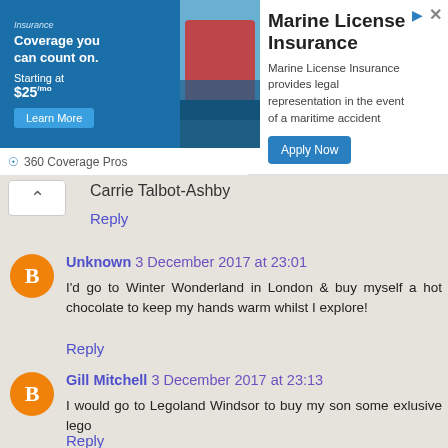[Figure (other): Marine License Insurance advertisement banner. Left side shows a blue panel with text 'Coverage you can count on. Starting at $25'. Boat image visible. Main area shows title 'Marine License Insurance', description about legal representation, and an 'Apply Now' button. Footer shows '360 Coverage Pros'.]
Carrie Talbot-Ashby
Reply
Unknown 3 December 2017 at 23:01
I'd go to Winter Wonderland in London & buy myself a hot chocolate to keep my hands warm whilst I explore!
Reply
Gill Mitchell 3 December 2017 at 23:13
I would go to Legoland Windsor to buy my son some exlusive lego
Reply